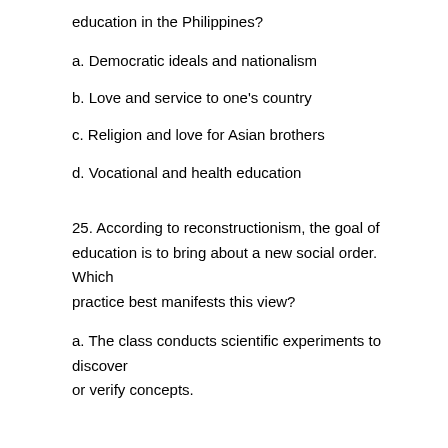education in the Philippines?
a. Democratic ideals and nationalism
b. Love and service to one's country
c. Religion and love for Asian brothers
d. Vocational and health education
25. According to reconstructionism, the goal of education is to bring about a new social order. Which practice best manifests this view?
a. The class conducts scientific experiments to discover or verify concepts.